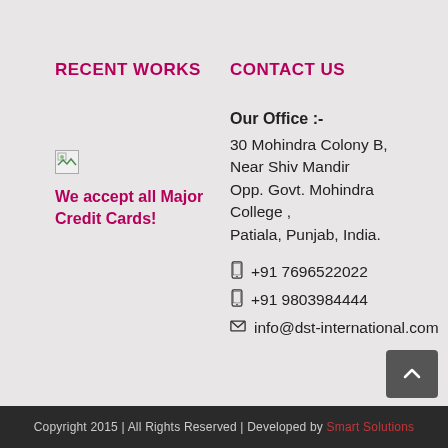RECENT WORKS
[Figure (photo): Broken/missing image placeholder in the Recent Works column]
We accept all Major Credit Cards!
CONTACT US
Our Office :-
30 Mohindra Colony B,
Near Shiv Mandir
Opp. Govt. Mohindra College ,
Patiala, Punjab, India.
+91 7696522022
+91 9803984444
info@dst-international.com
Copyright 2015 | All Rights Reserved | Developed by Smart Solutions